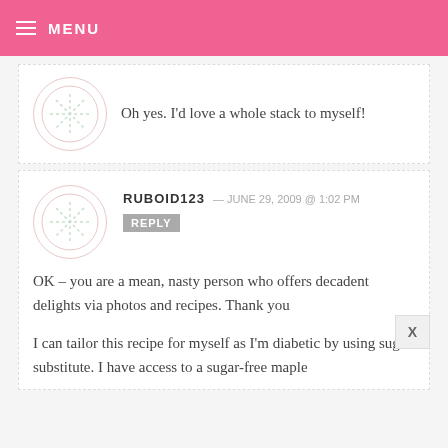MENU
Oh yes. I'd love a whole stack to myself!
RUBOID123 — JUNE 29, 2009 @ 1:02 PM REPLY
OK – you are a mean, nasty person who offers decadent delights via photos and recipes. Thank you

I can tailor this recipe for myself as I'm diabetic by using sugar substitute. I have access to a sugar-free maple